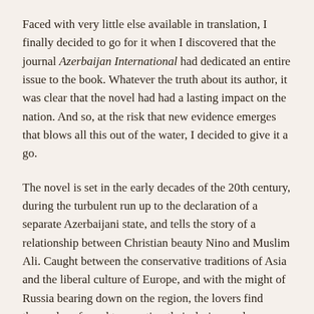Faced with very little else available in translation, I finally decided to go for it when I discovered that the journal Azerbaijan International had dedicated an entire issue to the book. Whatever the truth about its author, it was clear that the novel had had a lasting impact on the nation. And so, at the risk that new evidence emerges that blows all this out of the water, I decided to give it a go.
The novel is set in the early decades of the 20th century, during the turbulent run up to the declaration of a separate Azerbaijani state, and tells the story of a relationship between Christian beauty Nino and Muslim Ali. Caught between the conservative traditions of Asia and the liberal culture of Europe, and with the might of Russia bearing down on the region, the lovers find themselves forced to question their desires and identities. And, as the world plunges into war, they realise that events on battlefields hundreds of miles away will decide whether a society in which their love can thrive will continue to exist.
The conflict between East and West is at the heart of this book. From the very first chapter, in which a geography teacher explains that Baku sits on the cusp of two continents and tells Nino and his classmates that it is partly down to them 'whether our town should belong to progressive